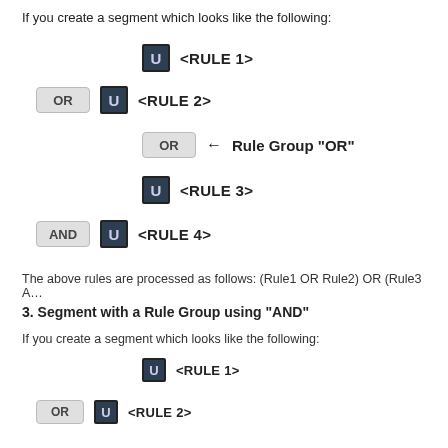If you create a segment which looks like the following:
[Figure (infographic): Diagram showing segment rules: U <RULE 1>, OR U <RULE 2>, OR (Rule Group OR), U <RULE 3>, AND U <RULE 4>]
The above rules are processed as follows: (Rule1 OR Rule2) OR (Rule3 A…
3. Segment with a Rule Group using "AND"
If you create a segment which looks like the following:
[Figure (infographic): Diagram showing segment rules: U <RULE 1>, OR U <RULE 2>]